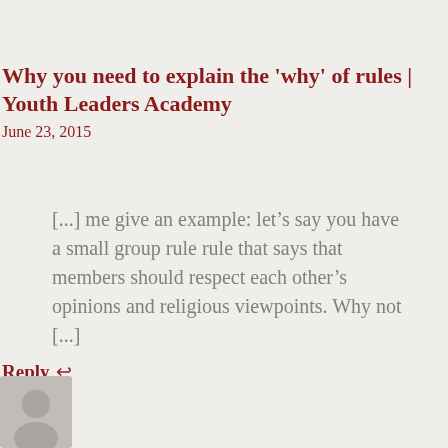Why you need to explain the 'why' of rules | Youth Leaders Academy
June 23, 2015
[...] me give an example: let’s say you have a small group rule rule that says that members should respect each other’s opinions and religious viewpoints. Why not [...]
Reply